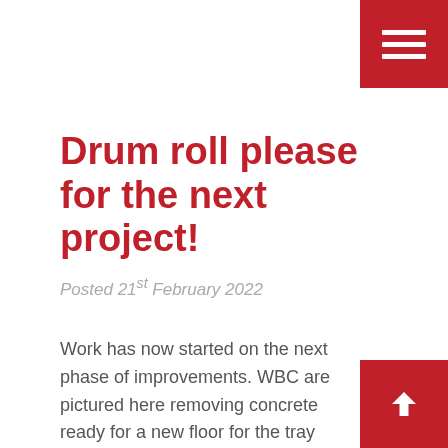[Figure (other): Red hamburger menu button in top-right corner with three white horizontal lines]
Drum roll please for the next project!
Posted 21st February 2022
Work has now started on the next phase of improvements. WBC are pictured here removing concrete ready for a new floor for the tray sorter. The tray sorter will sort, cut, and stack sleepers and gate posts – items which are at the larger end of our production. It's all part of our continuing policy… Read more »
[Figure (other): Red scroll-to-top button in bottom-right corner with a white upward chevron arrow]